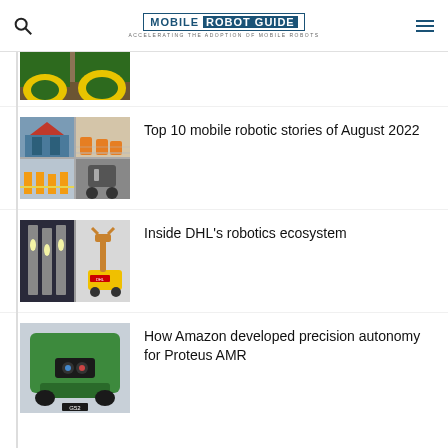MOBILE ROBOT GUIDE — ACCELERATING THE ADOPTION OF MOBILE ROBOTS
[Figure (photo): Partial view of green John Deere tractor wheels on soil, cropped at top]
[Figure (photo): Collage of four robotics images: house with robots outside, warehouse AMR robots, conveyor robots, and a mobile robot cart]
Top 10 mobile robotic stories of August 2022
[Figure (photo): Two-panel image: left shows tall automated storage robots in warehouse; right shows a yellow DHL robotic arm on a mobile platform]
Inside DHL's robotics ecosystem
[Figure (photo): Underside/rear view of a green Amazon Proteus AMR robot in a warehouse]
How Amazon developed precision autonomy for Proteus AMR